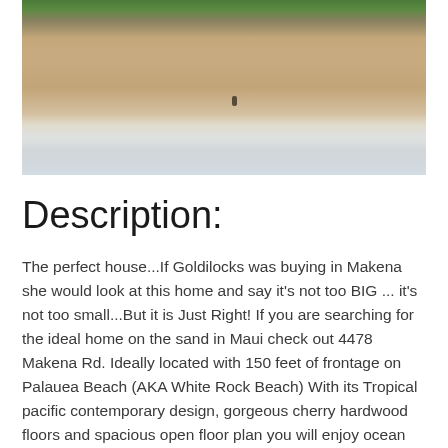[Figure (photo): Aerial view of a sandy beach with gentle waves lapping the shore, tropical vegetation visible at the top edge, and a single person visible on the sand.]
Description:
The perfect house...If Goldilocks was buying in Makena she would look at this home and say it's not too BIG ... it's not too small...But it is Just Right! If you are searching for the ideal home on the sand in Maui check out 4478 Makena Rd. Ideally located with 150 feet of frontage on Palauea Beach (AKA White Rock Beach) With its Tropical pacific contemporary design, gorgeous cherry hardwood floors and spacious open floor plan you will enjoy ocean views from every room as well as the pool. tucked inside of the lush tropical landscaping that provides exceptional privacy... yet you are only 23 steps